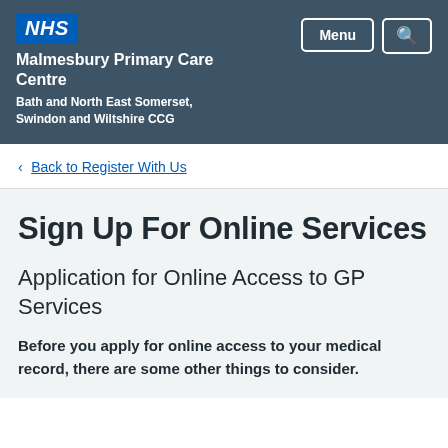NHS Malmesbury Primary Care Centre Bath and North East Somerset, Swindon and Wiltshire CCG
Back to Register With Us
Sign Up For Online Services
Application for Online Access to GP Services
Before you apply for online access to your medical record, there are some other things to consider.